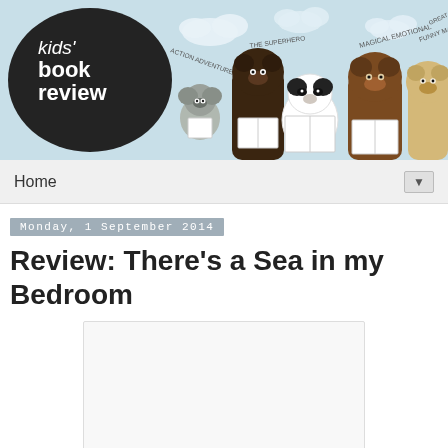[Figure (illustration): Kids' Book Review website banner. Dark oval logo on left with 'kids' book review' text in white. Right side shows illustrated bears and other animals (koala, dark bear, panda, brown bear, light bear) reading books against a light blue sky background with clouds and cursive text floating around them.]
Home ▼
Monday, 1 September 2014
Review: There's a Sea in my Bedroom
[Figure (illustration): Book cover image placeholder (white/light gray rectangle)]